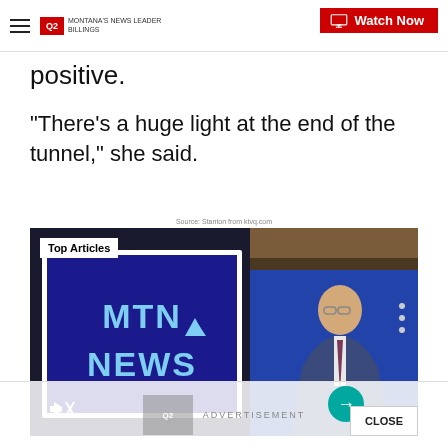Q2 MONTANA'S NEWS LEADER | Watch Now
positive.
"There's a huge light at the end of the tunnel," she said.
Source: Stanton from ktvq.com
[Figure (screenshot): Video thumbnail of MTN News broadcast showing MTN NEWS logo on screen with news anchor standing in studio. Overlay shows 'Top Articles' badge, mute icon, arrow navigation button, and CLOSE button. Below is an advertisement bar.]